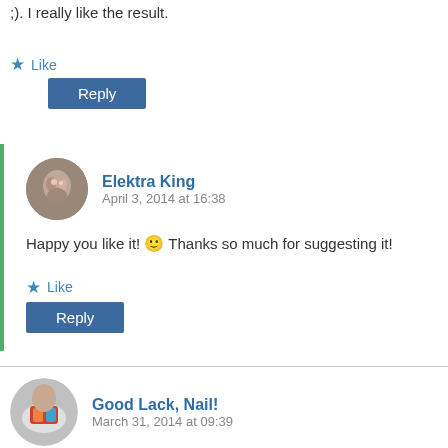;). I really like the result.
★ Like
Reply
Elektra King
April 3, 2014 at 16:38
Happy you like it! 🙂 Thanks so much for suggesting it!
★ Like
Reply
Good Lack, Nail!
March 31, 2014 at 09:39
was, entscheiden muss man sich auch noch? 🙂 Mir